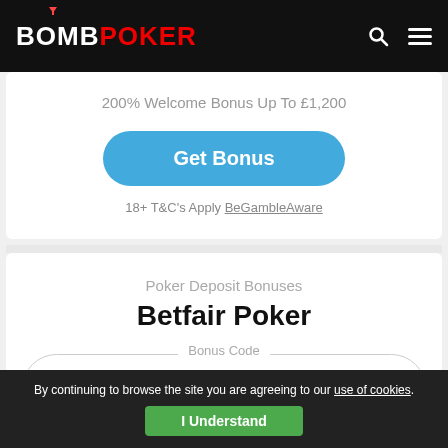BOMB POKER
200% Welcome Bonus Up To £1,200
Get Bonus
18+ T&C's Apply BeGambleAware
Poker Deposit Bonuses
Betfair Poker
Bonus Code
No Need
By continuing to browse the site you are agreeing to our use of cookies. I Understand